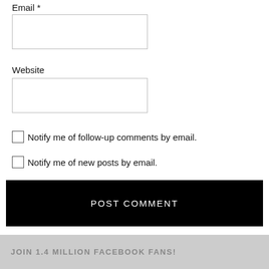Email *
[Figure (other): Empty text input box for Email field]
Website
[Figure (other): Empty text input box for Website field]
Notify me of follow-up comments by email.
Notify me of new posts by email.
POST COMMENT
JOIN 1.4 MILLION FACEBOOK FANS!